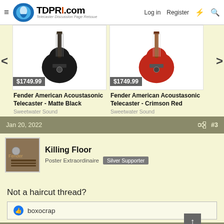TDPRI.com — Telecaster Discussion Page Reissue — Log in | Register
[Figure (photo): Fender American Acoustasonic Telecaster in Matte Black, price $1749.99, sold by Sweetwater Sound]
Fender American Acoustasonic Telecaster - Matte Black
Sweetwater Sound
[Figure (photo): Fender American Acoustasonic Telecaster in Crimson Red, price $1749.99, sold by Sweetwater Sound]
Fender American Acoustasonic Telecaster - Crimson Red
Sweetwater Sound
Jan 20, 2022   #3
Killing Floor
Poster Extraordinaire  Silver Supporter
Not a haircut thread?
boxocrap
Jan 20, 2022   #4